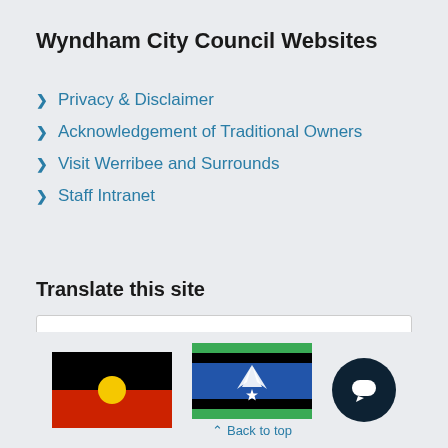Wyndham City Council Websites
Privacy & Disclaimer
Acknowledgement of Traditional Owners
Visit Werribee and Surrounds
Staff Intranet
Translate this site
Select Language
[Figure (illustration): Australian Aboriginal flag (black top half, red bottom half, yellow circle center) and Torres Strait Islander flag (green stripes top and bottom, blue center with white dhari and star), and a dark circular chat button icon]
Back to top